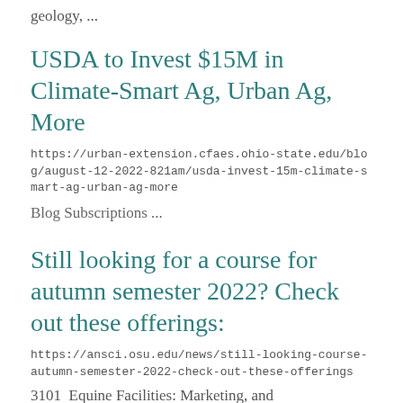geology, ...
USDA to Invest $15M in Climate-Smart Ag, Urban Ag, More
https://urban-extension.cfaes.ohio-state.edu/blog/august-12-2022-821am/usda-invest-15m-climate-smart-ag-urban-ag-more
Blog Subscriptions ...
Still looking for a course for autumn semester 2022? Check out these offerings:
https://ansci.osu.edu/news/still-looking-course-autumn-semester-2022-check-out-these-offerings
3101  Equine Facilities: Marketing, and ...